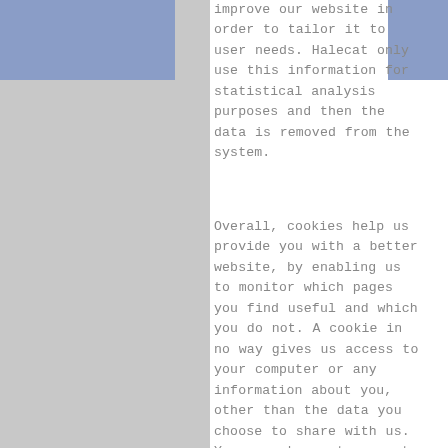improve our website in order to tailor it to user needs. Halecat only use this information for statistical analysis purposes and then the data is removed from the system.
Overall, cookies help us provide you with a better website, by enabling us to monitor which pages you find useful and which you do not. A cookie in no way gives us access to your computer or any information about you, other than the data you choose to share with us. You can choose to accept or decline cookies. Most web browsers automatically accept cookies, but you can